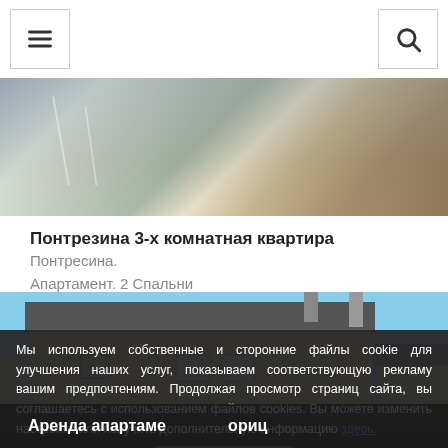[menu icon] [search icon]
[Figure (photo): Aerial winter view of a building with snow-covered surroundings]
Понтрезина 3-х комнатная квартира
Понтресина.
Апартамент. 2 Спальни
[Figure (photo): Exterior photo of a traditional Alpine building with yellow facade and green shutters under blue sky]
Мы используем собственные и сторонние файлы cookie для улучшения наших услуг, показываем соответствующую рекламу вашим предпочтениям. Продолжая просмотр страниц сайта, вы соглашаетесь с использованием файлов cookies. Вы можете изменить настройки или получить дополнительную информацию здесь.
Аренда апартаме... ориц